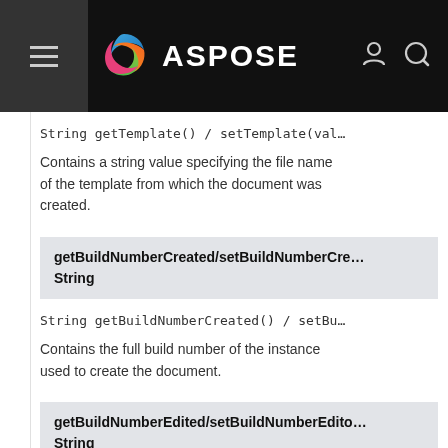ASPOSE
String getTemplate() / setTemplate(val…
Contains a string value specifying the file name of the template from which the document was created.
getBuildNumberCreated/setBuildNumberCre… String
String getBuildNumberCreated() / setBu…
Contains the full build number of the instance used to create the document.
getBuildNumberEdited/setBuildNumberEdito… String
String getBuildNumberEdited() / setBui…